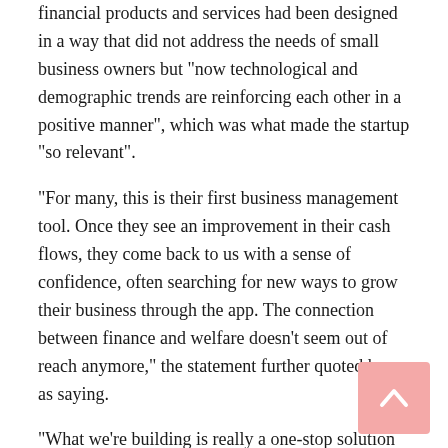financial products and services had been designed in a way that did not address the needs of small business owners but “now technological and demographic trends are reinforcing each other in a positive manner”, which was what made the startup “so relevant”.
“For many, this is their first business management tool. Once they see an improvement in their cash flows, they come back to us with a sense of confidence, often searching for new ways to grow their business through the app. The connection between finance and welfare doesn’t seem out of reach anymore,” the statement further quoted her as saying.
“What we’re building is really a one-stop solution for entrepreneurs to improve their financial outcomes in multiple areas of life,” co-founder and CEO Hasib Malik added.
Meanwhile, John Curtis, a partner at Tiger Global,